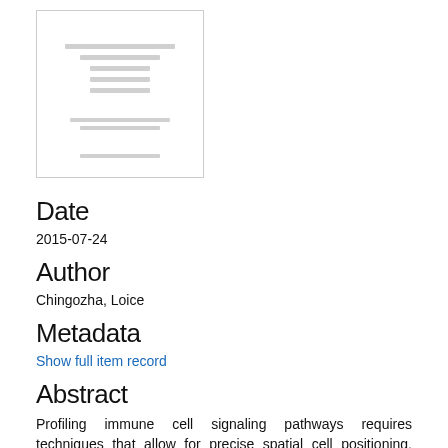[Figure (other): Thumbnail image of a document title page with several lines of small text arranged in the center]
Date
2015-07-24
Author
Chingozha, Loice
Metadata
Show full item record
Abstract
Profiling immune cell signaling pathways requires techniques that allow for precise spatial cell positioning, control of the cellular microenvironment, and the ability to perform high-